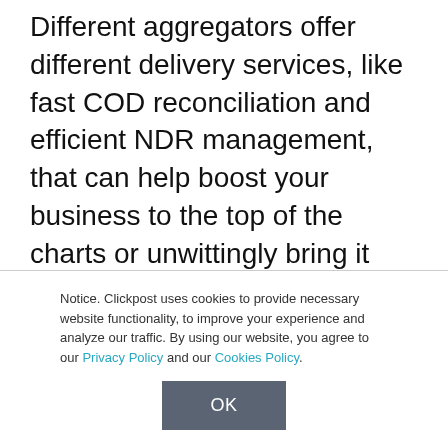Different aggregators offer different delivery services, like fast COD reconciliation and efficient NDR management, that can help boost your business to the top of the charts or unwittingly bring it down to the bottom of the ladder. Looking at the list of India's top 10 best logistics or courier aggregators, you get a clearer view of the
Notice. Clickpost uses cookies to provide necessary website functionality, to improve your experience and analyze our traffic. By using our website, you agree to our Privacy Policy and our Cookies Policy.